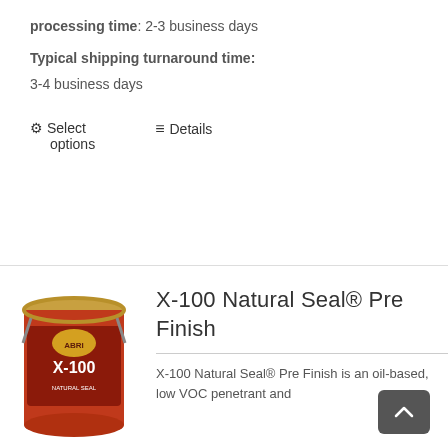processing time: 2-3 business days
Typical shipping turnaround time:
3-4 business days
⚙ Select options
≡ Details
[Figure (photo): Red can of X-100 Natural Seal product]
X-100 Natural Seal® Pre Finish
X-100 Natural Seal® Pre Finish is an oil-based, low VOC penetrant and